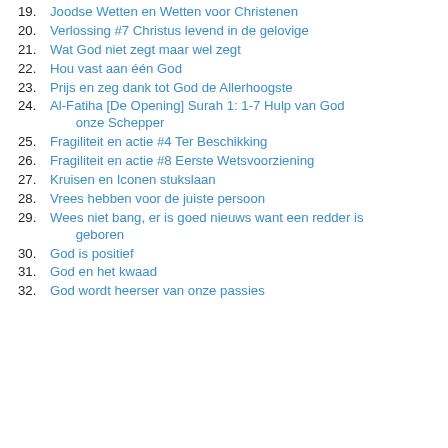19. Joodse Wetten en Wetten voor Christenen
20. Verlossing #7 Christus levend in de gelovige
21. Wat God niet zegt maar wel zegt
22. Hou vast aan één God
23. Prijs en zeg dank tot God de Allerhoogste
24. Al-Fatiha [De Opening] Surah 1: 1-7 Hulp van God onze Schepper
25. Fragiliteit en actie #4 Ter Beschikking
26. Fragiliteit en actie #8 Eerste Wetsvoorziening
27. Kruisen en Iconen stukslaan
28. Vrees hebben voor de juiste persoon
29. Wees niet bang, er is goed nieuws want een redder is geboren
30. God is positief
31. God en het kwaad
32. God wordt heerser van onze passies